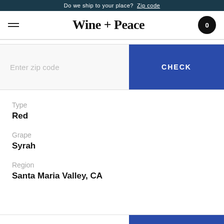Do we ship to your place? Zip code
Wine + Peace
Enter zip code
CHECK
Type
Red
Grape
Syrah
Region
Santa Maria Valley, CA